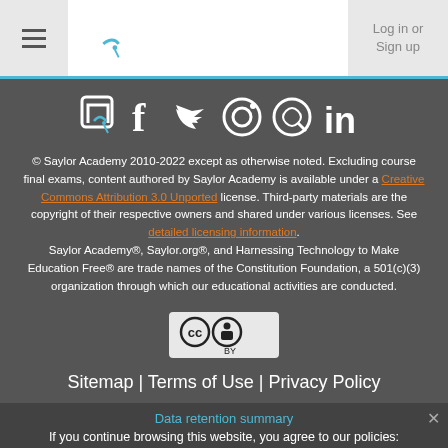Saylor Academy - Log in or Sign up
[Figure (logo): Social media icons row: Saylor Academy, Facebook, Twitter, Instagram, GitHub, LinkedIn]
© Saylor Academy 2010-2022 except as otherwise noted. Excluding course final exams, content authored by Saylor Academy is available under a Creative Commons Attribution 3.0 Unported license. Third-party materials are the copyright of their respective owners and shared under various licenses. See detailed licensing information. Saylor Academy®, Saylor.org®, and Harnessing Technology to Make Education Free® are trade names of the Constitution Foundation, a 501(c)(3) organization through which our educational activities are conducted.
[Figure (logo): Creative Commons Attribution (CC BY) license badge]
Sitemap | Terms of Use | Privacy Policy
Data retention summary
If you continue browsing this website, you agree to our policies:
Privacy Policy
Policies
Continue
Switch to the standard theme